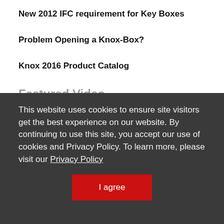New 2012 IFC requirement for Key Boxes
Problem Opening a Knox-Box?
Knox 2016 Product Catalog
Featured Video
This website uses cookies to ensure site visitors get the best experience on our website. By continuing to use this site, you accept our use of cookies and Privacy Policy. To learn more, please visit our Privacy Policy
I agree